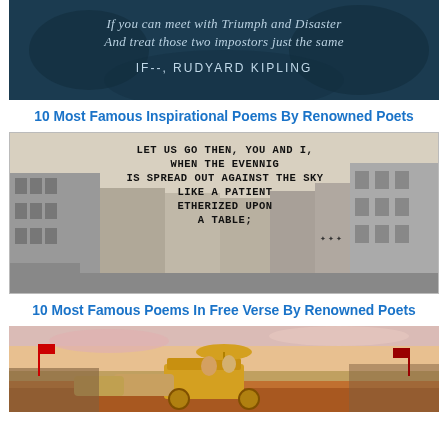[Figure (illustration): Dark teal/blue textured background with quote text: 'If you can meet with Triumph and Disaster / And treat those two impostors just the same' and attribution 'IF--, RUDYARD KIPLING']
10 Most Famous Inspirational Poems By Renowned Poets
[Figure (illustration): Black and white illustration of a city street scene with buildings, overlaid with poem text: 'LET US GO THEN, YOU AND I, / WHEN THE EVENNIG / IS SPREAD OUT AGAINST THE SKY / LIKE A PATIENT / ETHERIZED UPON / A TABLE;']
10 Most Famous Poems In Free Verse By Renowned Poets
[Figure (illustration): Colorful painting of an epic/mythological battle scene with a golden chariot, horses, warriors, and a figure with an umbrella/canopy — likely depicting the Mahabharata/Bhagavad Gita scene.]